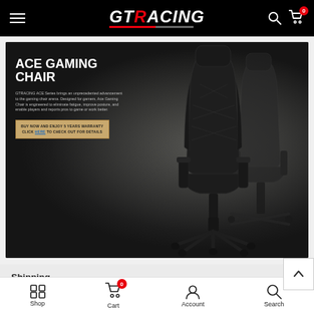GTRACING — Navigation bar with hamburger menu, logo, search and cart icons
[Figure (photo): ACE Gaming Chair promotional banner on dark background showing two black gaming chairs. Text overlay reads: ACE GAMING CHAIR. GTRACING ACE Series brings an unprecedented advancement to the gaming chair arena. Designed for gamers, Ace Gaming Chair is engineered to eliminate fatigue, improve posture, and enable players and sports pros to game or work better. CTA button: BUY NOW AND ENJOY 5 YEARS WARRANTY CLICK HERE TO CHECK OUT FOR DETAILS]
Shipping
Shop  Cart (0)  Account  Search